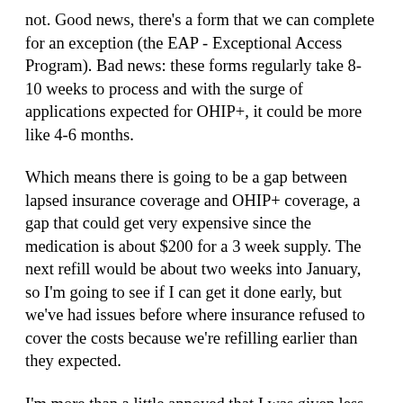not.  Good news, there's a form that we can complete for an exception (the EAP - Exceptional Access Program).  Bad news: these forms regularly take 8-10 weeks to process and with the surge of applications expected for OHIP+, it could be more like 4-6 months.
Which means there is going to be a gap between lapsed insurance coverage and OHIP+ coverage, a gap that could get very expensive since the medication is about $200 for a 3 week supply.  The next refill would be about two weeks into January, so I'm going to see if I can get it done early, but we've had issues before where insurance refused to cover the costs because we're refilling earlier than they expected.
I'm more than a little annoyed that I was given less than a month's warning to deal with this situation.  Even more annoyed that this seems like bureaucratic bullsh*t, since he a) has a prescription for that medication in that form and b) has been on the medication for awhile, so it's not like we're trying to game the system.
My advice to parents (both special needs and otherwise) is that if your child is on a prescription medication, check with your